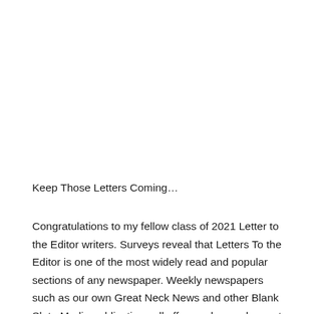Keep Those Letters Coming…
Congratulations to my fellow class of 2021 Letter to the Editor writers. Surveys reveal that Letters To the Editor is one of the most widely read and popular sections of any newspaper. Weekly newspapers such as our own Great Neck News and other Blank Slate Media publications all offer readers a chance to speak out. The same is true with daily